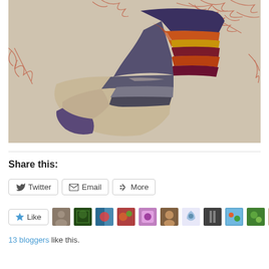[Figure (photo): A knitted sock with colorful stripes (purple, grey, beige, dark red/maroon, orange, gold, burnt orange) lying on a beige fabric background with red botanical/floral print pattern.]
Share this:
Twitter  Email  More
Like
13 bloggers like this.